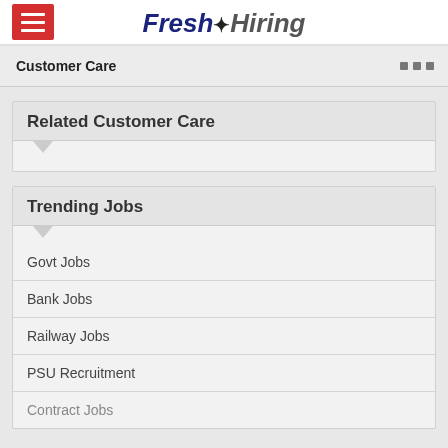Fresh Hiring
Customer Care
Related Customer Care
Trending Jobs
Govt Jobs
Bank Jobs
Railway Jobs
PSU Recruitment
Contract Jobs